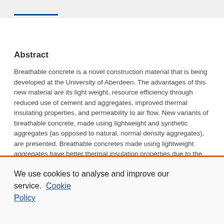Abstract
Breathable concrete is a novel construction material that is being developed at the University of Aberdeen. The advantages of this new material are its light weight, resource efficiency through reduced use of cement and aggregates, improved thermal insulating properties, and permeability to air flow. New variants of breathable concrete, made using lightweight and synthetic aggregates (as opposed to natural, normal density aggregates), are presented. Breathable concretes made using lightweight aggregates have better thermal insulation properties due to the presence of air voids, lower thermal conductivity of aggregates, and lower specific density. With that come lower structural dead loading, smaller structural members, reduced material demand
We use cookies to analyse and improve our service. Cookie Policy